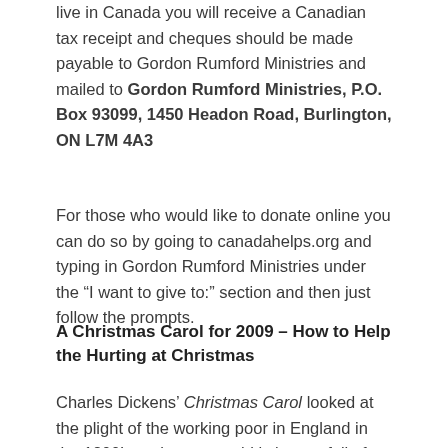live in Canada you will receive a Canadian tax receipt and cheques should be made payable to Gordon Rumford Ministries and mailed to Gordon Rumford Ministries, P.O. Box 93099, 1450 Headon Road, Burlington, ON L7M 4A3
For those who would like to donate online you can do so by going to canadahelps.org and typing in Gordon Rumford Ministries under the “I want to give to:” section and then just follow the prompts.
A Christmas Carol for 2009 – How to Help the Hurting at Christmas
Charles Dickens’ Christmas Carol looked at the plight of the working poor in England in  the 1800’s, today our world is just as full of hurting people and